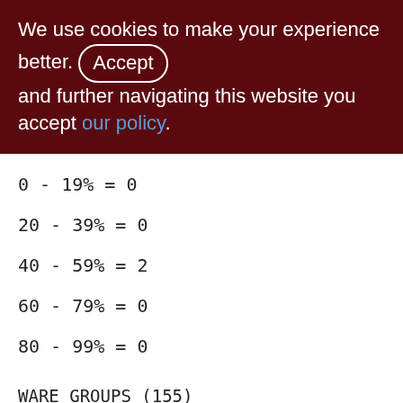We use cookies to make your experience better. By Accepting and further navigating this website you accept our policy.
0 - 19% = 0
20 - 39% = 0
40 - 59% = 2
60 - 79% = 0
80 - 99% = 0
WARE_GROUPS (155)
Primary pointer page: 261, Index root page: 262
Average record length: 32.13, total records: 8
Average version length: 0.00, total